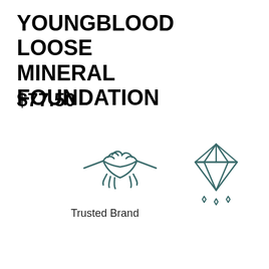YOUNGBLOOD LOOSE MINERAL FOUNDATION
$77.50
[Figure (illustration): Handshake icon in teal/dark green outline style representing a trusted brand]
Trusted Brand
[Figure (illustration): Diamond/gem icon in teal/dark green outline style with sparkle dots]